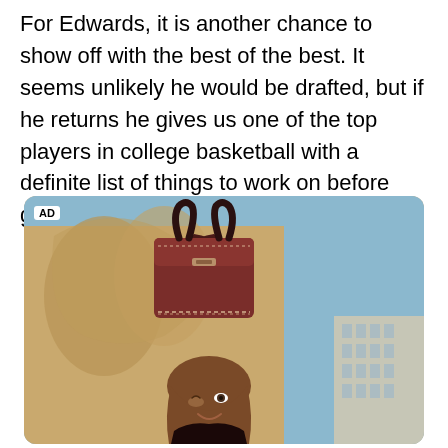For Edwards, it is another chance to show off with the best of the best. It seems unlikely he would be drafted, but if he returns he gives us one of the top players in college basketball with a definite list of things to work on before going to the next level.
[Figure (photo): Advertisement photo showing a woman holding up a dark maroon/burgundy leather handbag above her head with both hands. She is wearing dark clothing and is photographed against a backdrop of a stone sculpture and blue sky. An 'AD' label appears in the top-left corner of the image.]